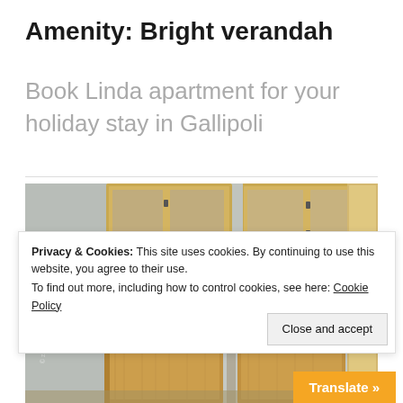Amenity: Bright verandah
Book Linda apartment for your holiday stay in Gallipoli
[Figure (photo): Indoor photo of wooden wardrobe/closet units with glass panels and a door frame, light blue/grey walls visible, interior of an apartment]
Privacy & Cookies: This site uses cookies. By continuing to use this website, you agree to their use.
To find out more, including how to control cookies, see here: Cookie Policy
Close and accept
Translate »